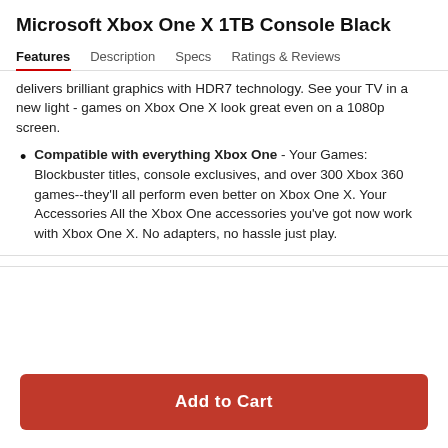Microsoft Xbox One X 1TB Console Black
Features | Description | Specs | Ratings & Reviews
delivers brilliant graphics with HDR7 technology. See your TV in a new light - games on Xbox One X look great even on a 1080p screen.
Compatible with everything Xbox One - Your Games: Blockbuster titles, console exclusives, and over 300 Xbox 360 games--they'll all perform even better on Xbox One X. Your Accessories All the Xbox One accessories you've got now work with Xbox One X. No adapters, no hassle just play.
Add to Cart